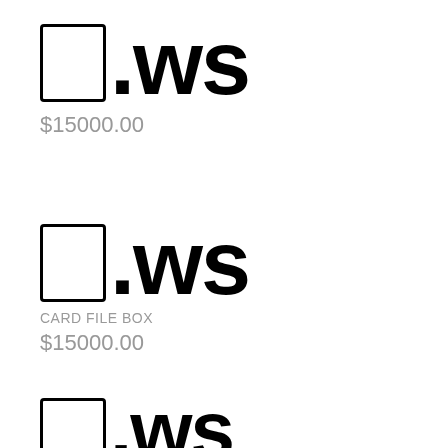[Figure (logo): Rectangle emoji icon followed by .ws text in large bold font]
$15000.00
[Figure (logo): Rectangle emoji icon followed by .ws text in large bold font]
CARD FILE BOX
$15000.00
[Figure (logo): Rectangle emoji icon followed by .ws text in large bold font (partially visible)]